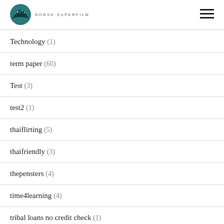NORSK SUPERFILM
Technology (1)
term paper (60)
Test (3)
test2 (1)
thaiflirting (5)
thaifriendly (3)
thepensters (4)
time4learning (4)
tribal loans no credit check (1)